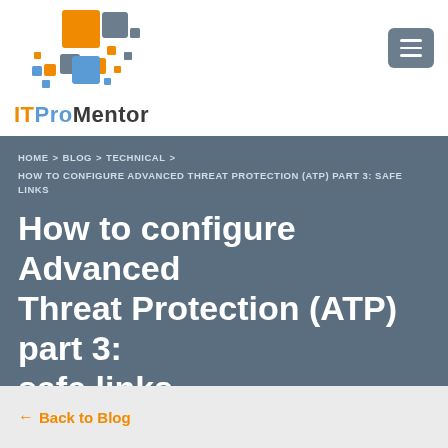[Figure (logo): ITProMentor logo with colorful square tiles and brand name]
HOME > BLOG > TECHNICAL > HOW TO CONFIGURE ADVANCED THREAT PROTECTION (ATP) PART 3: SAFE LINKS
How to configure Advanced Threat Protection (ATP) part 3: safe links
← Back to Blog